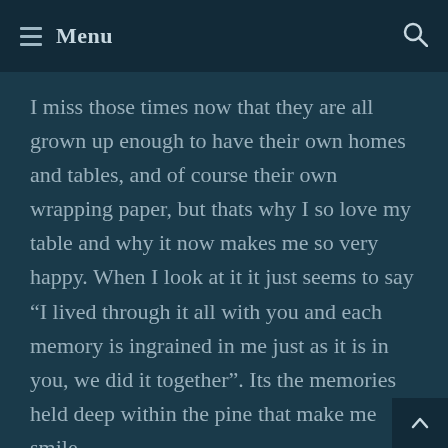≡ Menu
I miss those times now that they are all grown up enough to have their own homes and tables, and of course their own wrapping paper, but thats why I so love my table and why it now makes me so very happy. When I look at it it just seems to say “I lived through it all with you and each memory is ingrained in me just as it is in you, we did it together”. Its the memories held deep within the pine that make me smile.